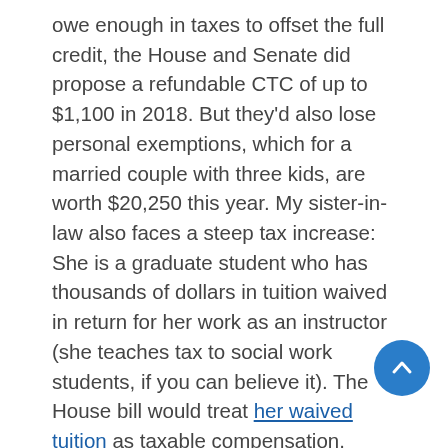owe enough in taxes to offset the full credit, the House and Senate did propose a refundable CTC of up to $1,100 in 2018. But they'd also lose personal exemptions, which for a married couple with three kids, are worth $20,250 this year. My sister-in-law also faces a steep tax increase: She is a graduate student who has thousands of dollars in tuition waived in return for her work as an instructor (she teaches tax to social work students, if you can believe it). The House bill would treat her waived tuition as taxable compensation.
My niece. My brother's oldest daughter has Down syndrome and receives Medicaid. My niece also qualifies for the Achieving a Better Life Experience (ABLE) program that allows relatives to create tax-advantaged accounts to assist young people with disabilities. Both bills would expand that program